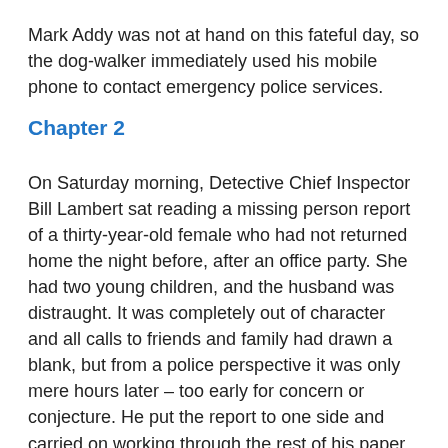Mark Addy was not at hand on this fateful day, so the dog-walker immediately used his mobile phone to contact emergency police services.
Chapter 2
On Saturday morning, Detective Chief Inspector Bill Lambert sat reading a missing person report of a thirty-year-old female who had not returned home the night before, after an office party. She had two young children, and the husband was distraught. It was completely out of character and all calls to friends and family had drawn a blank, but from a police perspective it was only mere hours later – too early for concern or conjecture. He put the report to one side and carried on working through the rest of his paper mountain.
An hour later Detective Constable Maurice Evans knocked at the door and entered without waiting for the usual invitation.